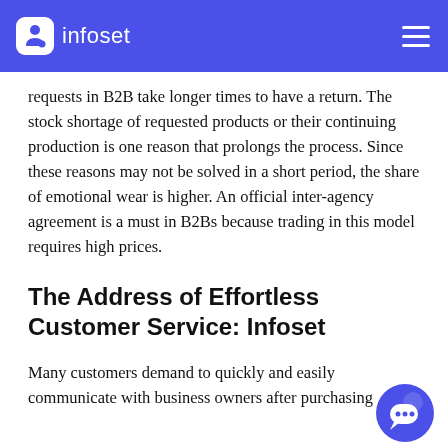infoset
requests in B2B take longer times to have a return. The stock shortage of requested products or their continuing production is one reason that prolongs the process. Since these reasons may not be solved in a short period, the share of emotional wear is higher. An official inter-agency agreement is a must in B2Bs because trading in this model requires high prices.
The Address of Effortless Customer Service: Infoset
Many customers demand to quickly and easily communicate with business owners after purchasing